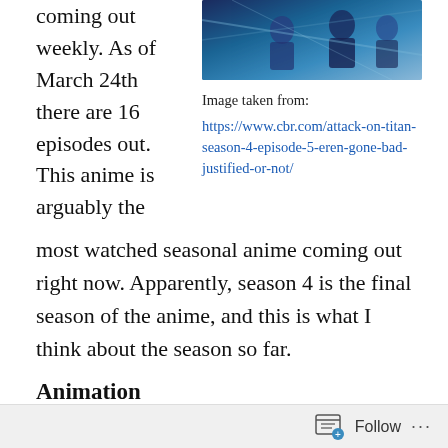[Figure (illustration): Anime artwork from Attack on Titan season 4 showing characters in a blue-toned action scene]
Image taken from:
https://www.cbr.com/attack-on-titan-season-4-episode-5-eren-gone-bad-justified-or-not/
coming out weekly. As of March 24th there are 16 episodes out. This anime is arguably the most watched seasonal anime coming out right now. Apparently, season 4 is the final season of the anime, and this is what I think about the season so far.
Animation
The animation for this last season is really good. The studio in charge is most known for doing another anime called 'Vinland Saga'. The animation studio is WIT studio.